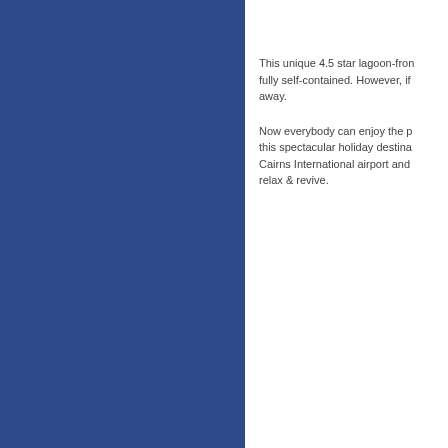[Figure (illustration): Large blue rectangular panel occupying the left half of the page]
This unique 4.5 star lagoon-fron fully self-contained. However, if away.
Now everybody can enjoy the p this spectacular holiday destina Cairns International airport and relax & revive.